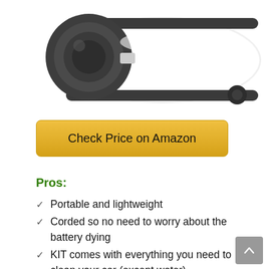[Figure (photo): Product photo of a white portable steam cleaner or pressure washer machine with dark grey circular side panels and a small black wheel, shown from the side on a white background.]
Check Price on Amazon
Pros:
Portable and lightweight
Corded so no need to worry about the battery dying
KIT comes with everything you need to clean your car (except water)
33-foot long cable allows you to reach all